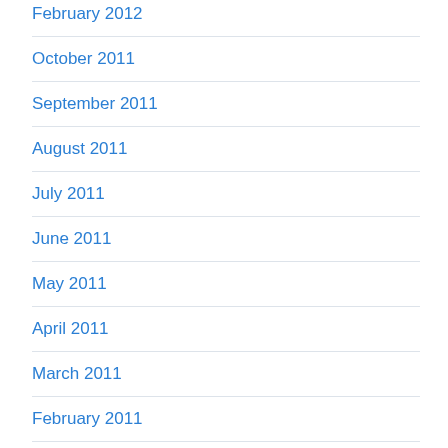February 2012
October 2011
September 2011
August 2011
July 2011
June 2011
May 2011
April 2011
March 2011
February 2011
January 2011
November 2010